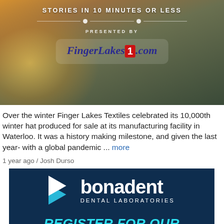[Figure (screenshot): Header banner with 'STORIES IN 10 MINUTES OR LESS' text and FingerLakes1.com logo, presented on a warm autumn-toned background]
Over the winter Finger Lakes Textiles celebrated its 10,000th winter hat produced for sale at its manufacturing facility in Waterloo. It was a history making milestone, and given the last year- with a global pandemic ... more
1 year ago / Josh Durso
[Figure (logo): Bonadent Dental Laboratories advertisement with logo, arrows/chevrons, and text: REGISTER FOR OUR TECHNICIAN TRAINING PROGRAM on dark navy background]